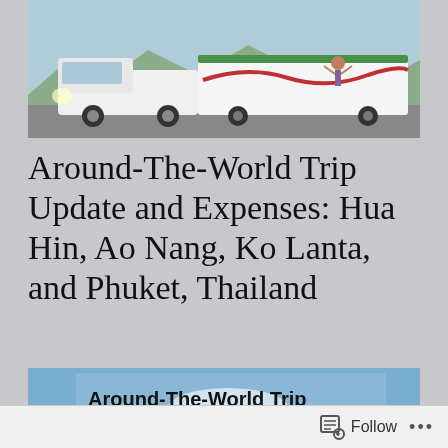[Figure (photo): White pickup truck towing a large white and green RV trailer parked in a lot with mountains in background. A person stands near the trailer with arms raised.]
Around-The-World Trip Update and Expenses: Hua Hin, Ao Nang, Ko Lanta, and Phuket, Thailand
[Figure (photo): Scenic photo of limestone karst mountains with green trees and blue sky. A man stands in foreground. Bold text overlay reads: Around-The-World Trip Update and Expenses: Hua Hin, Ao Nang, Ko Lanta, and Phuket]
Follow ...